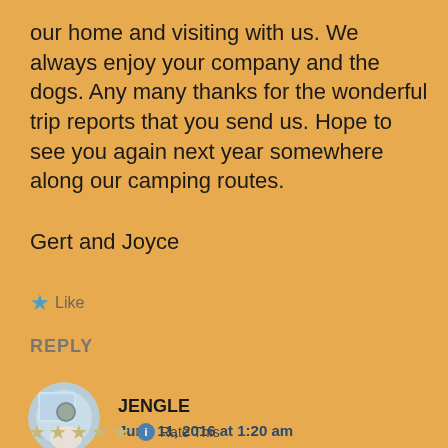our home and visiting with us. We always enjoy your company and the dogs. Any many thanks for the wonderful trip reports that you send us. Hope to see you again next year somewhere along our camping routes.
Gert and Joyce
Like
REPLY
[Figure (photo): Circular avatar photo of a person (JENGLE)]
JENGLE
June 11, 2016 at 1:20 am
Rate This